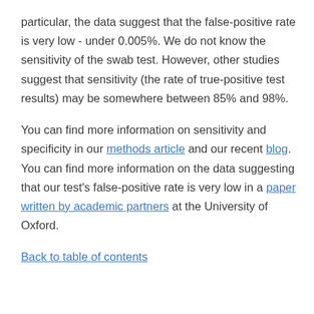particular, the data suggest that the false-positive rate is very low - under 0.005%. We do not know the sensitivity of the swab test. However, other studies suggest that sensitivity (the rate of true-positive test results) may be somewhere between 85% and 98%.
You can find more information on sensitivity and specificity in our methods article and our recent blog. You can find more information on the data suggesting that our test's false-positive rate is very low in a paper written by academic partners at the University of Oxford.
Back to table of contents